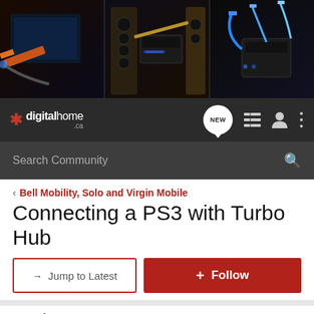[Figure (photo): Banner with three panels showing electronics: HDMI cable with TV, home audio speakers and receiver, and USB cables with storage devices, all on dark backgrounds]
digitalhome.ca
Search Community
< Bell Mobility, Solo and Virgin Mobile
Connecting a PS3 with Turbo Hub
→ Jump to Latest
+ Follow
1 - 5 of 5 Posts
Hilts · Registered
Joined Jan 9, 2010 · 15 Posts